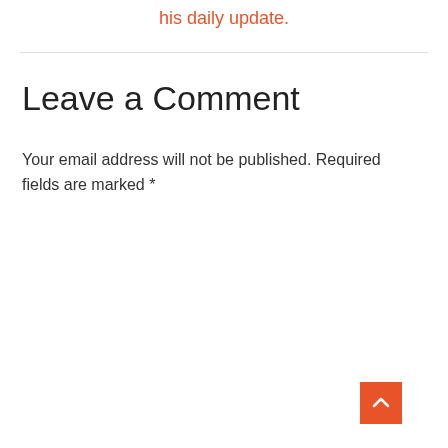his daily update.
Leave a Comment
Your email address will not be published. Required fields are marked *
[Figure (screenshot): A comment text area input box with placeholder text 'Type here..' on a light gray background, with a scroll-to-top orange button in the bottom right corner.]